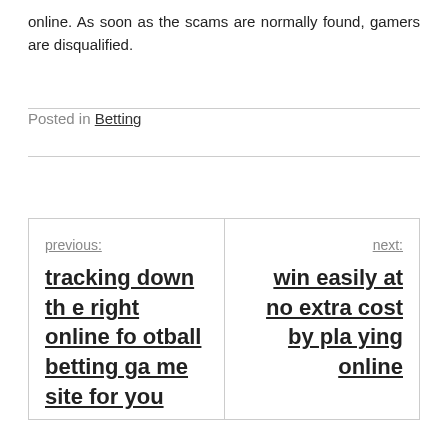online. As soon as the scams are normally found, gamers are disqualified.
Posted in Betting
previous: tracking down the right online football betting game site for you
next: win easily at no extra cost by playing online